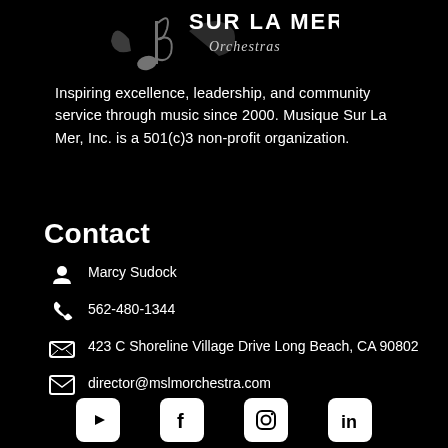[Figure (logo): Sur La Mer Orchestras logo with treble clef and stylized text on black background]
Inspiring excellence, leadership, and community service through music since 2000. Musique Sur La Mer, Inc. is a 501(c)3 non-profit organization.
Contact
Marcy Sudock
562-480-1344
423 C Shoreline Village Drive Long Beach, CA 90802
director@mslmorchestra.com
[Figure (infographic): Social media icons row: YouTube, Facebook, Instagram, LinkedIn]